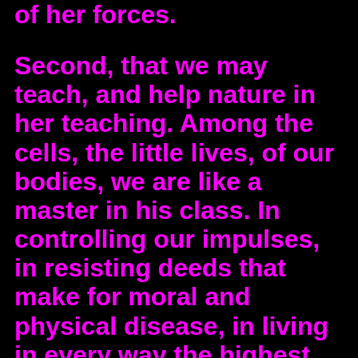of her forces.
Second, that we may teach, and help nature in her teaching. Among the cells, the little lives, of our bodies, we are like a master in his class. In controlling our impulses, in resisting deeds that make for moral and physical disease, in living in every way the highest and purest life we can, we are training the lower lives that clothe us on the one hand; and training ourselves on the other. In training his students, the master trains himself. And whilst they learn